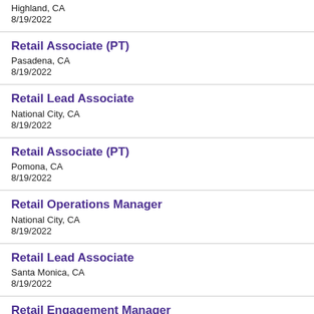Highland, CA
8/19/2022
Retail Associate (PT)
Pasadena, CA
8/19/2022
Retail Lead Associate
National City, CA
8/19/2022
Retail Associate (PT)
Pomona, CA
8/19/2022
Retail Operations Manager
National City, CA
8/19/2022
Retail Lead Associate
Santa Monica, CA
8/19/2022
Retail Engagement Manager
Los Angeles, CA